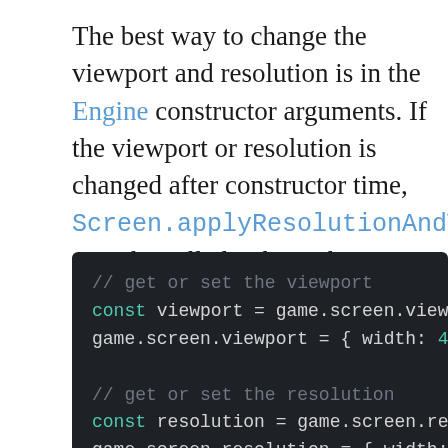The best way to change the viewport and resolution is in the Engine constructor arguments. If the viewport or resolution is changed after constructor time, Screen.applyResolutionAndViewport must be called to have the changes take effect.
[Figure (screenshot): Dark-themed code block showing JavaScript code for getting and setting viewport and resolution on game.screen object]